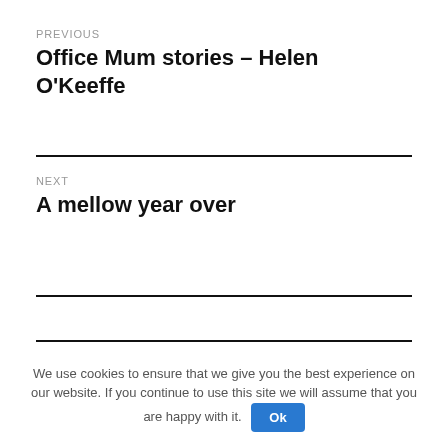PREVIOUS
Office Mum stories – Helen O'Keeffe
NEXT
A mellow year over
We use cookies to ensure that we give you the best experience on our website. If you continue to use this site we will assume that you are happy with it.